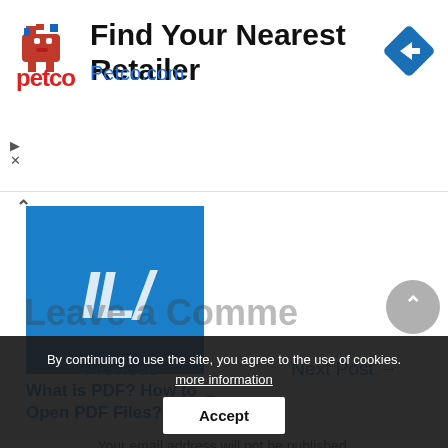[Figure (other): Petco advertisement banner with dog logo, bold text 'Find Your Nearest Retailer', blue URL 'Petco.com', and blue diamond navigation icon on right]
[Figure (screenshot): Blue thumbnail image showing partial text 'IL/?' in white italic bold letters on blue background - article preview image]
What is PDF? How to Open PDF Files?
← Previous Post
Next Post →
Leave a Comment
By continuing to use the site, you agree to the use of cookies. more information
Your email address will not be published.